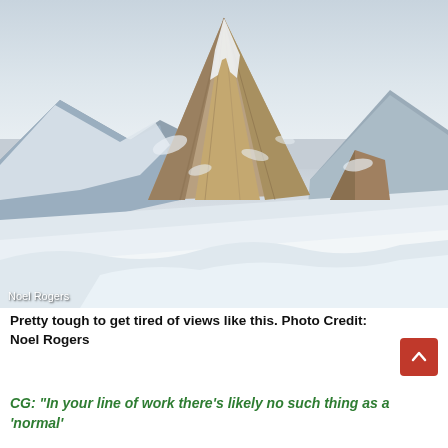[Figure (photo): Aerial or elevated view of a dramatic snow-covered rocky mountain peak, with steep rock faces and heavy snow accumulation. The peak rises sharply against a pale grey-blue sky.]
Pretty tough to get tired of views like this. Photo Credit: Noel Rogers
CG: "In your line of work there's likely no such thing as a 'normal' day, but could you walk us through what a typical day looks like?